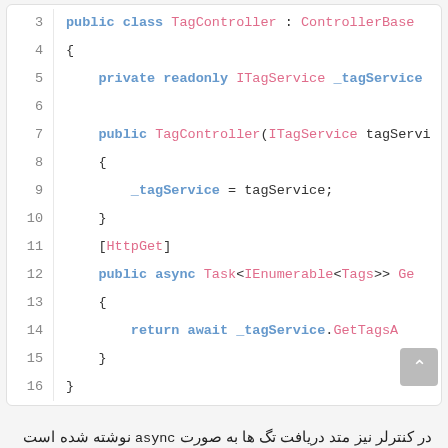[Figure (screenshot): Code block showing C# TagController class with lines 3-16, including private field, constructor, and HttpGet async method]
در کنترلر نیز متد دریافت تگ ها به صورت async نوشته شده است که نیازی به آن نیست و میتوانیم آن را به صورت زیر بازنویسی کنیم:
[Figure (screenshot): Code block showing C# with lines 1-2: [HttpGet] attribute and public Task<IEnumerable<Tags>> Get(Cancellatio...]